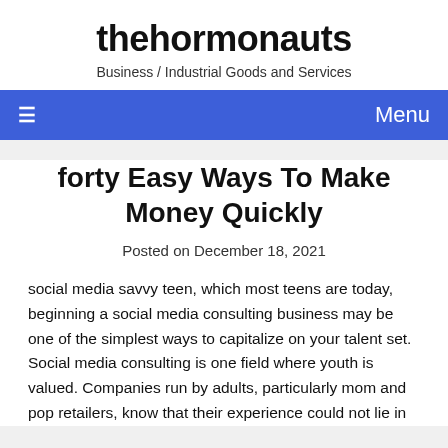thehormonauts
Business / Industrial Goods and Services
☰  Menu
forty Easy Ways To Make Money Quickly
Posted on December 18, 2021
social media savvy teen, which most teens are today, beginning a social media consulting business may be one of the simplest ways to capitalize on your talent set. Social media consulting is one field where youth is valued. Companies run by adults, particularly mom and pop retailers, know that their experience could not lie in